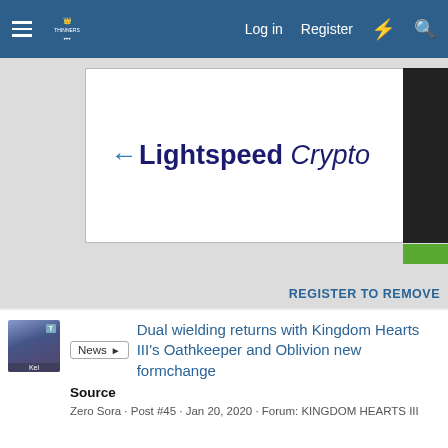Log in   Register
[Figure (screenshot): Advertisement banner for Lightspeed Crypto with logo text and purple sphere graphic]
REGISTER TO REMOVE
[Figure (photo): User avatar for Zero Sora showing an anime-style character]
Dual wielding returns with Kingdom Hearts III's Oathkeeper and Oblivion new formchange
Source
Zero Sora · Post #45 · Jan 20, 2020 · Forum: KINGDOM HEARTS III